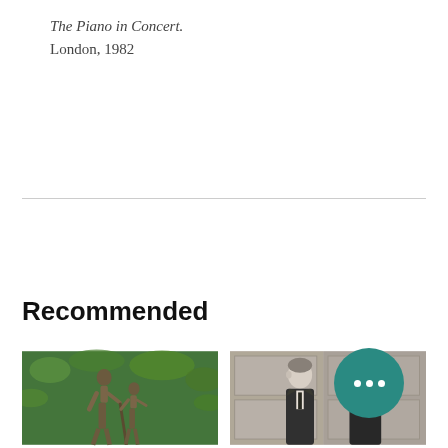The Piano in Concert.
London, 1982
Recommended
[Figure (photo): Bronze statue of two figures (a man and a child) outdoors among green foliage]
[Figure (photo): Black and white photograph of two older men in formal attire standing together indoors]